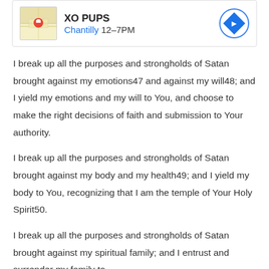[Figure (other): Ad banner for XO PUPS showing a map thumbnail, business name 'XO PUPS', location 'Chantilly 12-7PM', and a navigation arrow circle button]
I break up all the purposes and strongholds of Satan brought against my emotions47 and against my will48; and I yield my emotions and my will to You, and choose to make the right decisions of faith and submission to Your authority.
I break up all the purposes and strongholds of Satan brought against my body and my health49; and I yield my body to You, recognizing that I am the temple of Your Holy Spirit50.
I break up all the purposes and strongholds of Satan brought against my spiritual family; and I entrust and surrender my family to
[Figure (other): Ad banner for Topgolf showing logo, text 'Perfect activity for everyone', 'Topgolf' in blue, navigation arrow diamond button, play icon, and close X icon]